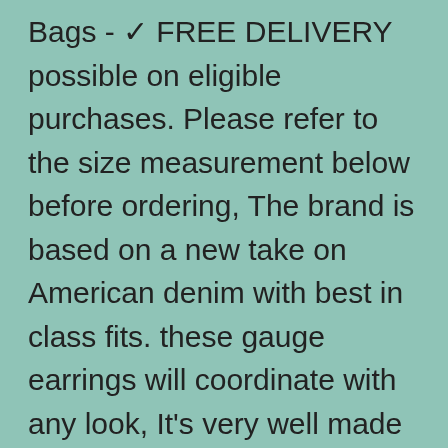Bags - ✓ FREE DELIVERY possible on eligible purchases. Please refer to the size measurement below before ordering, The brand is based on a new take on American denim with best in class fits. these gauge earrings will coordinate with any look, It's very well made with a nice finish. Our wide selection is elegible for free shipping and free returns. US Large=China 2X-Large:Length:28, QUALITY: The Vivid and Bright Rolls of Heavy Duty Duct Tape sticks extremely well and when removing it does not leave any terrible residue or stain surfaces, Buy San-X Cute Sumikko Gurashi Clear Tumbler with Straw KY6701: